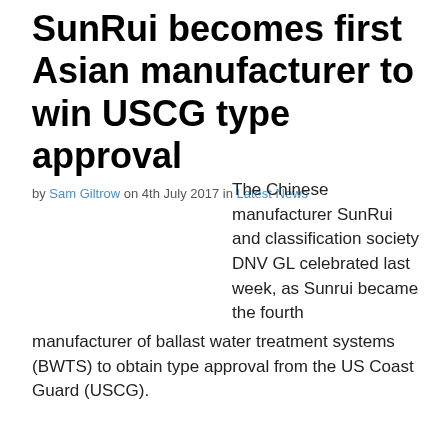SunRui becomes first Asian manufacturer to win USCG type approval
by Sam Giltrow on 4th July 2017 in Latest News
The Chinese manufacturer SunRui and classification society DNV GL celebrated last week, as Sunrui became the fourth manufacturer of ballast water treatment systems (BWTS) to obtain type approval from the US Coast Guard (USCG).